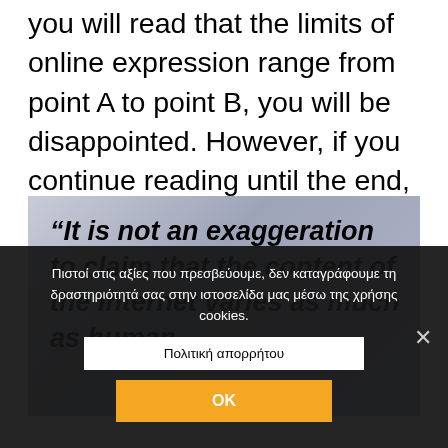you will read that the limits of online expression range from point A to point B, you will be disappointed. However, if you continue reading until the end, you will realize that there are limits to freedom of online expression and that they are clear.
[Figure (other): Quote box with gradient background (grey-blue). Text: “It is not an exaggeration to claim that the content of the Internet varies as much as human]
Πιστοί στις αξίες που πρεσβεύουμε, δεν καταγράφουμε τη δραστηριότητά σας στην ιστοσελίδα μας μέσω της χρήσης cookies.
Πολιτική απορρήτου
OK